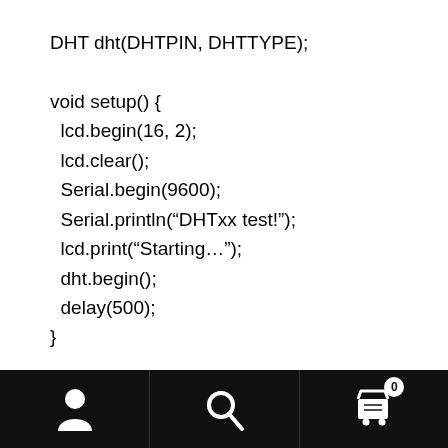DHT dht(DHTPIN, DHTTYPE);

void setup() {
  lcd.begin(16, 2);
  lcd.clear();
  Serial.begin(9600);
  Serial.println(“DHTxx test!”);
  lcd.print(“Starting…”);
  dht.begin();
  delay(500);
}

void loop() {
  // Reading temperature or humidity takes about 250
[Figure (other): Mobile app navigation bar with user icon, search icon, and shopping cart icon with badge showing 0]